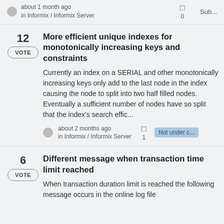address this particular...
about 1 month ago in Informix / Informix Server · 0 · Sub...
More efficient unique indexes for monotonically increasing keys and constraints
Currently an index on a SERIAL and other monotonically increasing keys only add to the last node in the index causing the node to split into two half filled nodes. Eventually a sufficient number of nodes have so split that the index's search effic...
about 2 months ago in Informix / Informix Server · 1 · Not under c...
Different message when transaction time limit reached
When transaction duration limit is reached the following message occurs in the online log file